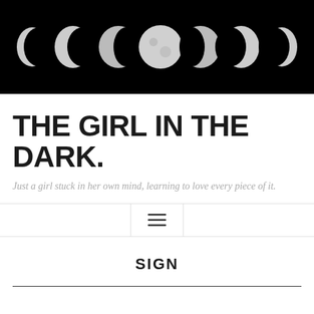[Figure (photo): Moon phases banner image showing 7 moon phases from crescent to full and back, displayed on a black background in a horizontal row]
THE GIRL IN THE DARK.
Just a girl stuck in her own mind, learning to love every piece of it.
[Figure (other): Navigation hamburger menu icon (three horizontal lines) inside a bordered box]
SIGN